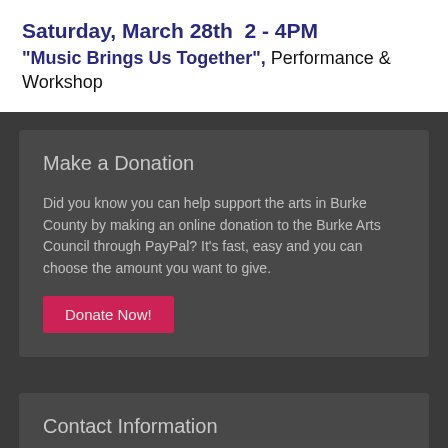Saturday, March 28th  2 - 4PM
"Music Brings Us Together", Performance & Workshop
Make a Donation
Did you know you can help support the arts in Burke County by making an online donation to the Burke Arts Council through PayPal? It's fast, easy and you can choose the amount you want to give.
Donate Now!
Contact Information
Burke Arts Council
506 S. Sterling Street